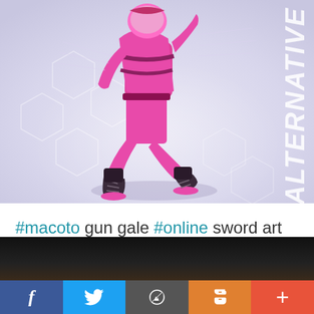[Figure (illustration): Anime character in pink ninja/action suit jumping or running, with hexagonal pattern background and vertical text reading 'ALTERNATIVE' on the right side]
#macoto gun gale #online sword art online sword art online #alternative gun gale online
[Figure (screenshot): Partially visible dark image at the bottom of the page, appears to be another post or video thumbnail]
Social sharing bar with Facebook, Twitter, WordPress, Blogger, and More buttons